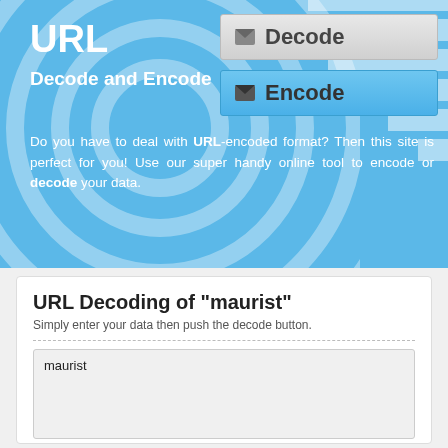URL
Decode and Encode
[Figure (other): Decode button with envelope icon]
[Figure (other): Encode button with envelope icon]
Do you have to deal with URL-encoded format? Then this site is perfect for you! Use our super handy online tool to encode or decode your data.
URL Decoding of "maurist"
Simply enter your data then push the decode button.
maurist